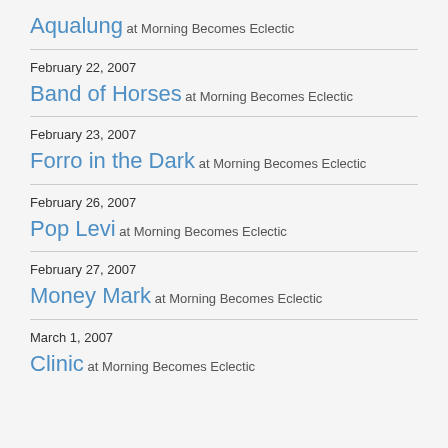Aqualung at Morning Becomes Eclectic
February 22, 2007 — Band of Horses at Morning Becomes Eclectic
February 23, 2007 — Forro in the Dark at Morning Becomes Eclectic
February 26, 2007 — Pop Levi at Morning Becomes Eclectic
February 27, 2007 — Money Mark at Morning Becomes Eclectic
March 1, 2007 — Clinic at Morning Becomes Eclectic